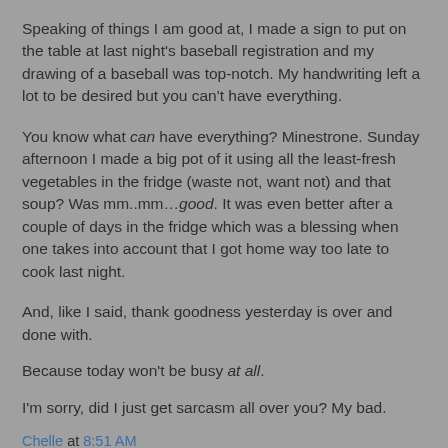Speaking of things I am good at, I made a sign to put on the table at last night's baseball registration and my drawing of a baseball was top-notch. My handwriting left a lot to be desired but you can't have everything.
You know what can have everything? Minestrone. Sunday afternoon I made a big pot of it using all the least-fresh vegetables in the fridge (waste not, want not) and that soup? Was mm..mm…good. It was even better after a couple of days in the fridge which was a blessing when one takes into account that I got home way too late to cook last night.
And, like I said, thank goodness yesterday is over and done with.
Because today won't be busy at all.
I'm sorry, did I just get sarcasm all over you? My bad.
Chelle at 8:51 AM
1 comment: